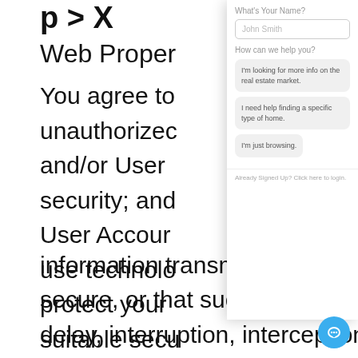Web Properties
You agree to unauthorized and/or User security; and User Account use technology protect your suitable security measures and and cannot guarantee information transmitted through the Internet is secure, or that such transmissions are free of delay, interruption, interception or error.
[Figure (screenshot): Chat widget overlay panel showing: title 'Hi, we'd love to chat!', name input field with placeholder 'John Smith', help text 'How can we help you?', three option buttons: 'I'm looking for more info on the real estate market.', 'I need help finding a specific type of home.', 'I'm just browsing.', footer 'Already Signed Up? Click here to login.' and a blue chat bubble button in the bottom right corner.]